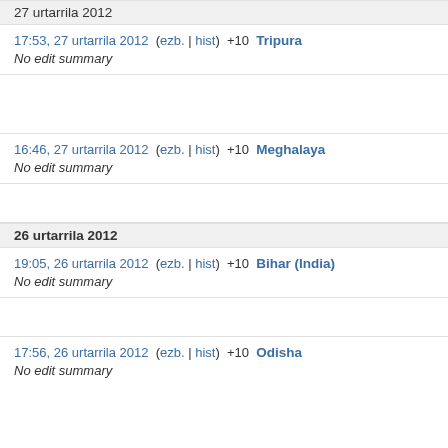27 urtarrila 2012
17:53, 27 urtarrila 2012  (ezb. | hist)  +10  Tripura
No edit summary
16:46, 27 urtarrila 2012  (ezb. | hist)  +10  Meghalaya
No edit summary
26 urtarrila 2012
19:05, 26 urtarrila 2012  (ezb. | hist)  +10  Bihar (India)
No edit summary
17:56, 26 urtarrila 2012  (ezb. | hist)  +10  Odisha
No edit summary